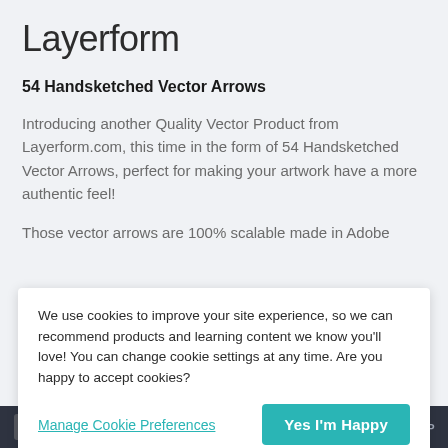Layerform
54 Handsketched Vector Arrows
Introducing another Quality Vector Product from Layerform.com, this time in the form of 54 Handsketched Vector Arrows, perfect for making your artwork have a more authentic feel!
Those vector arrows are 100% scalable made in Adobe
We use cookies to improve your site experience, so we can recommend products and learning content we know you'll love! You can change cookie settings at any time. Are you happy to accept cookies?
Manage Cookie Preferences
Yes I'm Happy